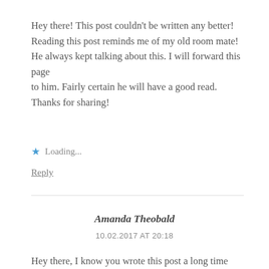Hey there! This post couldn't be written any better! Reading this post reminds me of my old room mate! He always kept talking about this. I will forward this page to him. Fairly certain he will have a good read. Thanks for sharing!
★ Loading...
Reply
Amanda Theobald
10.02.2017 AT 20:18
Hey there, I know you wrote this post a long time ago, but I was searching the web and this has just...